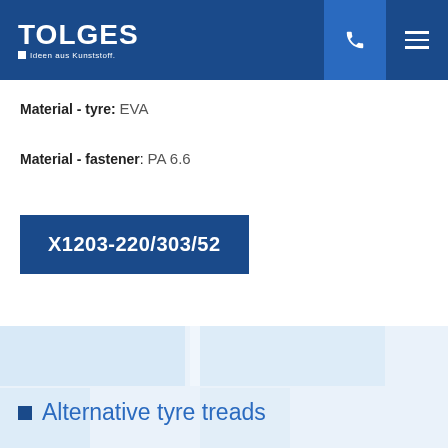TOLGES Ideen aus Kunststoff.
Material - tyre: EVA
Material - fastener: PA 6.6
X1203-220/303/52
Alternative tyre treads